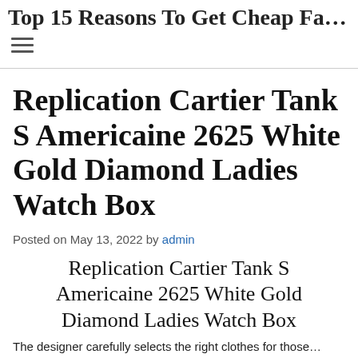Top 15 Reasons To Get Cheap Fa...
Replication Cartier Tank S Americaine 2625 White Gold Diamond Ladies Watch Box
Posted on May 13, 2022 by admin
Replication Cartier Tank S Americaine 2625 White Gold Diamond Ladies Watch Box
The designer carefully selects the right clothes for those...